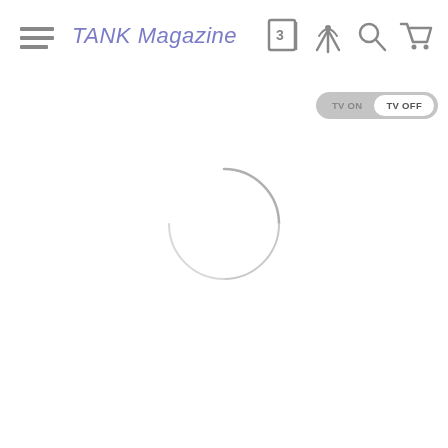TANK Magazine
[Figure (other): Loading spinner - partial circle arc in light gray indicating a page loading state]